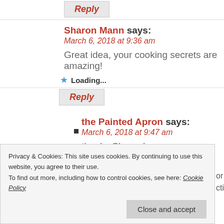Reply
Sharon Mann says: March 6, 2018 at 9:36 am
Great idea, your cooking secrets are amazing!
Loading...
Reply
the Painted Apron says: March 6, 2018 at 9:47 am
thanks Sharon!
Loading...
Privacy & Cookies: This site uses cookies. By continuing to use this website, you agree to their use. To find out more, including how to control cookies, see here: Cookie Policy
Close and accept
try it! Thanks Jenna.